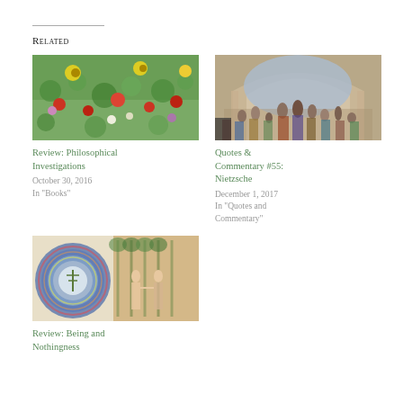Related
[Figure (photo): Colorful floral painting with red, yellow, and green flowers, resembling a Klimt garden painting.]
Review: Philosophical Investigations
October 30, 2016
In "Books"
[Figure (photo): The School of Athens fresco by Raphael, showing classical philosophers gathered in an arched hall.]
Quotes & Commentary #55: Nietzsche
December 1, 2017
In "Quotes and Commentary"
[Figure (photo): A painting depicting a circular mandala-like cosmic image on the left and figures of Adam and Eve on the right, with a Tree of Life.]
Review: Being and Nothingness